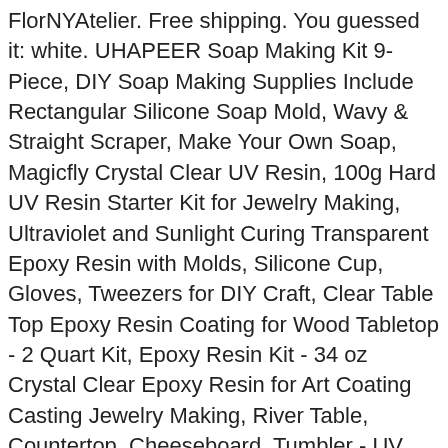FlorNYAtelier. Free shipping. You guessed it: white. UHAPEER Soap Making Kit 9-Piece, DIY Soap Making Supplies Include Rectangular Silicone Soap Mold, Wavy & Straight Scraper, Make Your Own Soap, Magicfly Crystal Clear UV Resin, 100g Hard UV Resin Starter Kit for Jewelry Making, Ultraviolet and Sunlight Curing Transparent Epoxy Resin with Molds, Silicone Cup, Gloves, Tweezers for DIY Craft, Clear Table Top Epoxy Resin Coating for Wood Tabletop - 2 Quart Kit, Epoxy Resin Kit - 34 oz Crystal Clear Epoxy Resin for Art Coating Casting Jewelry Making, River Table, Countertop, Cheeseboard, Tumbler - UV Resistant & Food Safe - Craft Resin Starter Kit, Cast-A-Mold 25T Rtv - Liquid Silicone Mold Making Rubber for Casting Soap, Candles, Cement, Concrete, Epoxy and Polyurethane - 1/2 Gallon, ZYTJ Silicone soap molds kit kit-42 oz Flexible Rectangular Loaf Comes with Wood Box,Stainless Steel Wavy & Straight Scraper for CP and MP Making Supplies, ComposiMold Used 3lbs Reusable Mold Making, Silicone Resin Measuring Cups Tool Kit- Reusable Nicpro 250 & 100 ml Measure Cups, Silicone Popsicle Sticks, Pipettes,